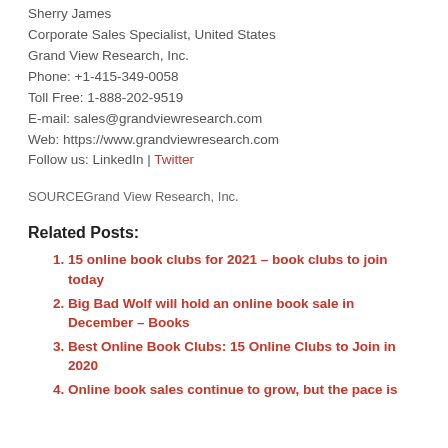Sherry James
Corporate Sales Specialist, United States
Grand View Research, Inc.
Phone: +1-415-349-0058
Toll Free: 1-888-202-9519
E-mail: sales@grandviewresearch.com
Web: https://www.grandviewresearch.com
Follow us: LinkedIn | Twitter
SOURCEGrand View Research, Inc.
Related Posts:
15 online book clubs for 2021 – book clubs to join today
Big Bad Wolf will hold an online book sale in December – Books
Best Online Book Clubs: 15 Online Clubs to Join in 2020
Online book sales continue to grow, but the pace is